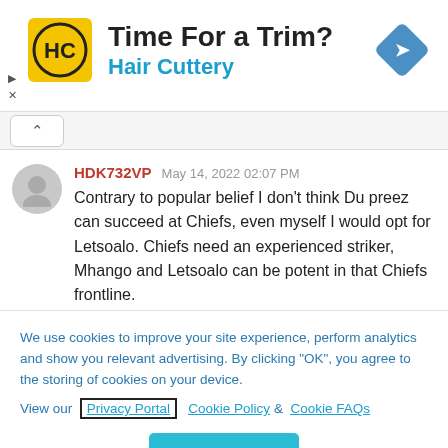[Figure (infographic): Hair Cuttery advertisement banner with yellow HC logo, text 'Time For a Trim?' and 'Hair Cuttery' in blue, and a blue navigation diamond icon on the right.]
HDK732VP   May 14, 2022 02:07 PM
Contrary to popular belief I don't think Du preez can succeed at Chiefs, even myself I would opt for Letsoalo. Chiefs need an experienced striker, Mhango and Letsoalo can be potent in that Chiefs frontline.
We use cookies to improve your site experience, perform analytics and show you relevant advertising. By clicking "OK", you agree to the storing of cookies on your device. View our Privacy Portal   Cookie Policy &  Cookie FAQs
OK